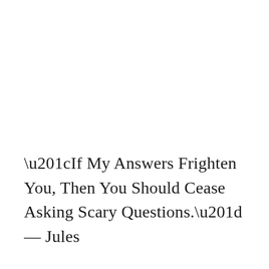“If My Answers Frighten You, Then You Should Cease Asking Scary Questions.” — Jules